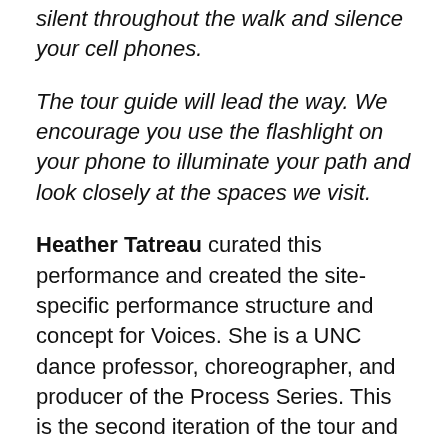silent throughout the walk and silence your cell phones.
The tour guide will lead the way. We encourage you use the flashlight on your phone to illuminate your path and look closely at the spaces we visit.
Heather Tatreau curated this performance and created the site-specific performance structure and concept for Voices. She is a UNC dance professor, choreographer, and producer of the Process Series. This is the second iteration of the tour and there are plans to continue developing it as new community partnerships emerge.
The Voices tour guide is Meredith